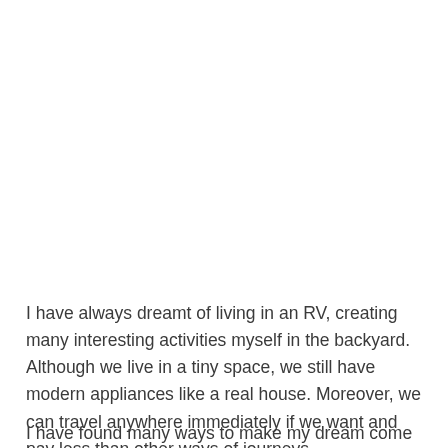I have always dreamt of living in an RV, creating many interesting activities myself in the backyard. Although we live in a tiny space, we still have modern appliances like a real house. Moreover, we can travel anywhere immediately if we want and pay less than other ways of journeys.
I have found many ways to make my dream come